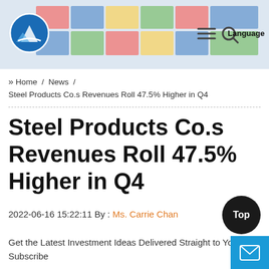[Figure (screenshot): Website header banner with shipping containers background image, blue circular logo with mountain/wave icon on left, hamburger menu icon, search icon, and Language text on right]
» Home / News / Steel Products Co.s Revenues Roll 47.5% Higher in Q4
Steel Products Co.s Revenues Roll 47.5% Higher in Q4
2022-06-16 15:22:11 By : Ms. Carrie Chan
Get the Latest Investment Ideas Delivered Straight to Your Subscribe